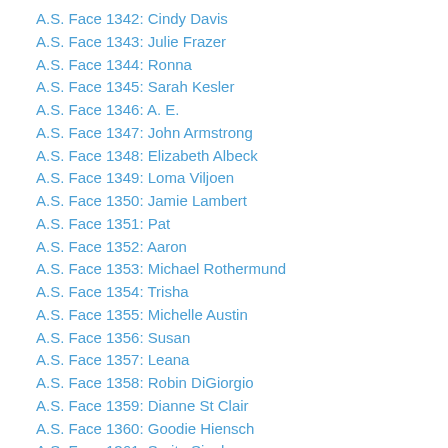A.S. Face 1342: Cindy Davis
A.S. Face 1343: Julie Frazer
A.S. Face 1344: Ronna
A.S. Face 1345: Sarah Kesler
A.S. Face 1346: A. E.
A.S. Face 1347: John Armstrong
A.S. Face 1348: Elizabeth Albeck
A.S. Face 1349: Loma Viljoen
A.S. Face 1350: Jamie Lambert
A.S. Face 1351: Pat
A.S. Face 1352: Aaron
A.S. Face 1353: Michael Rothermund
A.S. Face 1354: Trisha
A.S. Face 1355: Michelle Austin
A.S. Face 1356: Susan
A.S. Face 1357: Leana
A.S. Face 1358: Robin DiGiorgio
A.S. Face 1359: Dianne St Clair
A.S. Face 1360: Goodie Hiensch
A.S. Face 1361: Serita Singh